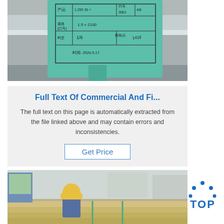[Figure (photo): Close-up photo of a green cylindrical metal rod with a green label/tag attached, showing handwritten Chinese text in a table format on the label. The rod appears to be a polished metal cylinder in a factory or industrial setting.]
Full Text Of Commercial And Fi...
The full text on this page is automatically extracted from the file linked above and may contain errors and inconsistencies.
Get Price
[Figure (photo): Photo of an industrial factory floor showing a worker in a yellow hard hat examining large metal cylindrical rods/bars. The factory has a large open space with overhead lighting and metal structures visible in the background.]